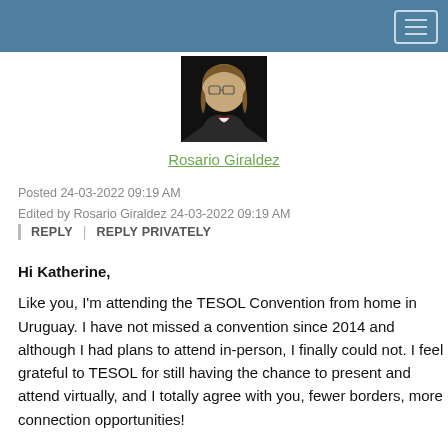[Figure (photo): Profile photo of Rosario Giraldez, a woman with glasses and long hair, wearing a dark jacket, against a dark background.]
Rosario Giraldez
Posted 24-03-2022 09:19 AM
Edited by Rosario Giraldez 24-03-2022 09:19 AM
REPLY | REPLY PRIVATELY
Hi Katherine,

Like you, I'm attending the TESOL Convention from home in Uruguay. I have not missed a convention since 2014 and although I had plans to attend in-person, I finally could not. I feel grateful to TESOL for still having the chance to present and attend virtually, and I totally agree with you, fewer borders, more connection opportunities!